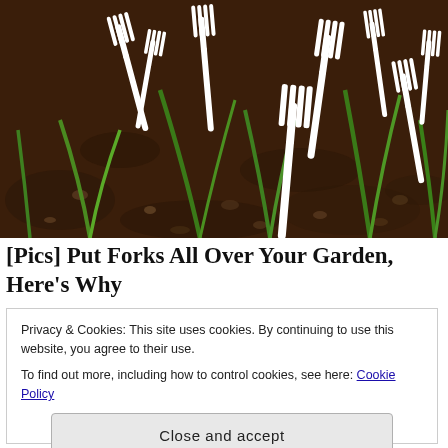[Figure (photo): Photo of garden soil with green plant shoots and white plastic forks stuck in the ground at various angles]
[Pics] Put Forks All Over Your Garden, Here's Why
Privacy & Cookies: This site uses cookies. By continuing to use this website, you agree to their use.
To find out more, including how to control cookies, see here: Cookie Policy
Close and accept
reading...